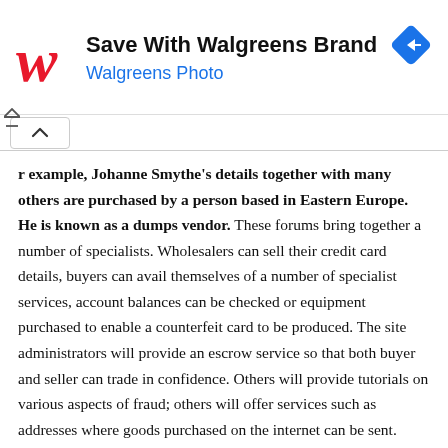[Figure (logo): Walgreens advertisement banner with Walgreens logo (red cursive W), heading 'Save With Walgreens Brand', subtitle 'Walgreens Photo' in blue, and a blue diamond-shaped navigation icon on the right.]
example, Johanne Smythe's details together with many others are purchased by a person based in Eastern Europe. He is known as a dumps vendor. These forums bring together a number of specialists. Wholesalers can sell their credit card details, buyers can avail themselves of a number of specialist services, account balances can be checked or equipment purchased to enable a counterfeit card to be produced. The site administrators will provide an escrow service so that both buyer and seller can trade in confidence. Others will provide tutorials on various aspects of fraud; others will offer services such as addresses where goods purchased on the internet can be sent.